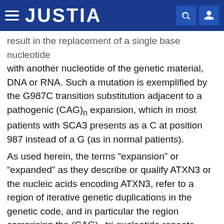JUSTIA
result in the replacement of a single base nucleotide with another nucleotide of the genetic material, DNA or RNA. Such a mutation is exemplified by the G987C transition substitution adjacent to a pathogenic (CAG)n expansion, which in most patients with SCA3 presents as a C at position 987 instead of a G (as in normal patients).
As used herein, the terms “expansion” or “expanded” as they describe or qualify ATXN3 or the nucleic acids encoding ATXN3, refer to a region of iterative genetic duplications in the genetic code, and in particular the region comprising the (CAG)n tri-nucleotide repeats (e.g., nucleic acids encoding ATXN that comprise a region (CAG)n, where “n” is greater than about 52) that encodes the pathogenic poly-glutamine expansion. An example of an expansion is the iterative genetic duplication of an unstable (CAG)n repeat in the nucleic acid encoding ATXN3, which encodes and results in a pathogenic poly